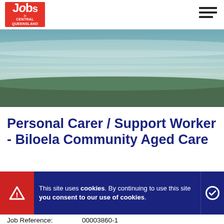[Figure (logo): Jobs in Central Queensland logo — red square with white 'Jobs' text and subtitle]
[Figure (photo): Aerial coastal photograph showing beach waves and green vegetation in the foreground]
Personal Carer / Support Worker - Biloela Community Aged Care
This site uses cookies. By continuing to use this site you consent to our use of cookies.
Job Reference: 00003860-1